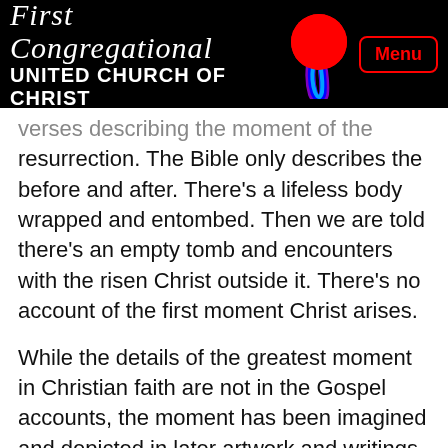First Congregational UNITED CHURCH OF CHRIST
verses describing the moment of the resurrection. The Bible only describes the before and after. There’s a lifeless body wrapped and entombed. Then we are told there’s an empty tomb and encounters with the risen Christ outside it. There’s no account of the first moment Christ arises.
While the details of the greatest moment in Christian faith are not in the Gospel accounts, the moment has been imagined and depicted in later artwork and writings. And while the there is no explicit written record of the resurrection moment per se, a universal resurrection has Biblical anchoring including in retrospective